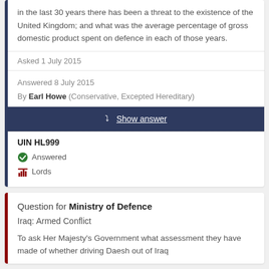in the last 30 years there has been a threat to the existence of the United Kingdom; and what was the average percentage of gross domestic product spent on defence in each of those years.
Asked 1 July 2015
Answered 8 July 2015
By Earl Howe (Conservative, Excepted Hereditary)
Show answer
UIN HL999
Answered
Lords
Question for Ministry of Defence
Iraq: Armed Conflict
To ask Her Majesty's Government what assessment they have made of whether driving Daesh out of Iraq